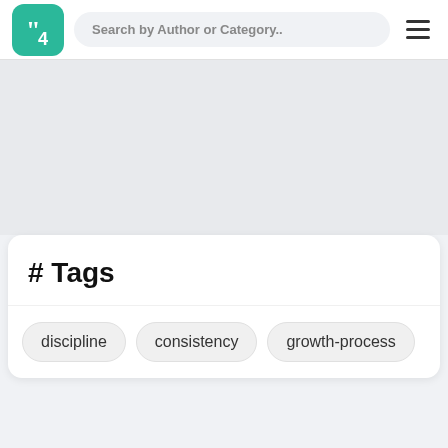Search by Author or Category..
[Figure (logo): Teal rounded square logo with white quotation mark icon]
# Tags
discipline
consistency
growth-process